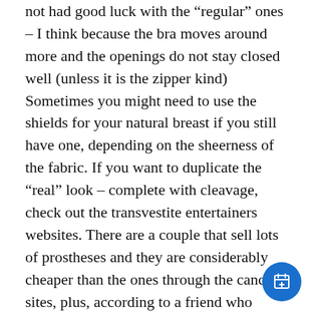not had good luck with the “regular” ones – I think because the bra moves around more and the openings do not stay closed well (unless it is the zipper kind) Sometimes you might need to use the shields for your natural breast if you still have one, depending on the sheerness of the fabric. If you want to duplicate the “real” look – complete with cleavage, check out the transvestite entertainers websites. There are a couple that sell lots of prostheses and they are considerably cheaper than the ones through the cancer sites, plus, according to a friend who purchased some, they are lighter weight and they look VERY realistic under low cut or sheer clothing. I think